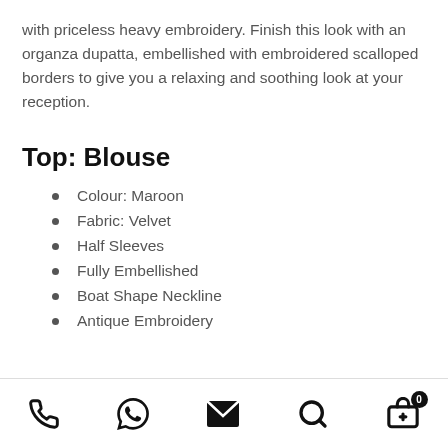with priceless heavy embroidery. Finish this look with an organza dupatta, embellished with embroidered scalloped borders to give you a relaxing and soothing look at your reception.
Top: Blouse
Colour: Maroon
Fabric: Velvet
Half Sleeves
Fully Embellished
Boat Shape Neckline
Antique Embroidery
Phone | WhatsApp | Email | Search | Cart (0)